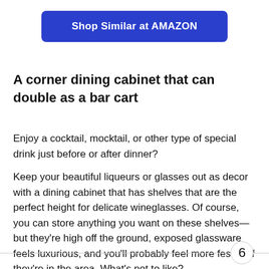[Figure (other): Blue button labeled 'Shop Similar at AMAZON']
A corner dining cabinet that can double as a bar cart
Enjoy a cocktail, mocktail, or other type of special drink just before or after dinner?
Keep your beautiful liqueurs or glasses out as decor with a dining cabinet that has shelves that are the perfect height for delicate wineglasses. Of course, you can store anything you want on these shelves—but they're high off the ground, exposed glassware feels luxurious, and you'll probably feel more festive if they're in the area. What's not to like?
6